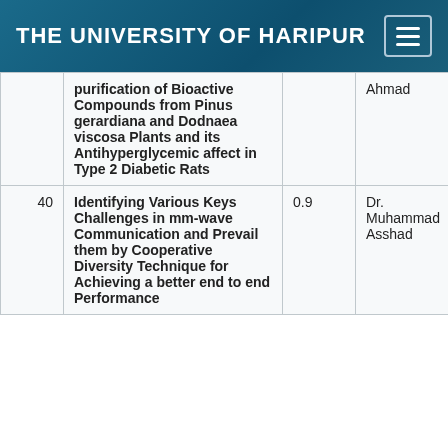THE UNIVERSITY OF HARIPUR
| # | Title | IF | Supervisor | Department |
| --- | --- | --- | --- | --- |
|  | purification of Bioactive Compounds from Pinus gerardiana and Dodnaea viscosa Plants and its Antihyperglycemic affect in Type 2 Diabetic Rats |  | Ahmad |  |
| 40 | Identifying Various Keys Challenges in mm-wave Communication and Prevail them by Cooperative Diversity Technique for Achieving a better end to end Performance | 0.9 | Dr. Muhammad Asshad | Information Tech: |